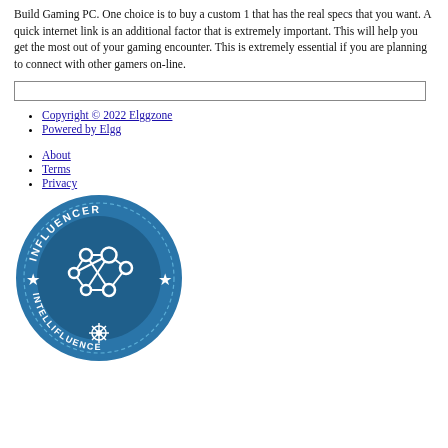Build Gaming PC. One choice is to buy a custom 1 that has the real specs that you want. A quick internet link is an additional factor that is extremely important. This will help you get the most out of your gaming encounter. This is extremely essential if you are planning to connect with other gamers on-line.
[Figure (other): Empty search/input box with border]
Copyright © 2022 Elggzone
Powered by Elgg
About
Terms
Privacy
[Figure (logo): Intellifluence Influencer badge — circular blue badge with network graph icon, text 'INFLUENCER' at top and 'INTELLIFLUENCE' at bottom, white stars on sides]